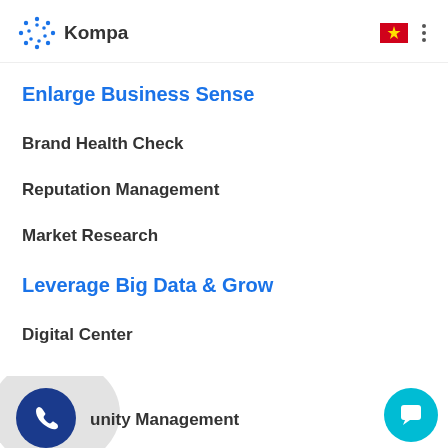Kompa
Enlarge Business Sense
Brand Health Check
Reputation Management
Market Research
Leverage Big Data & Grow
Digital Center
unity Management